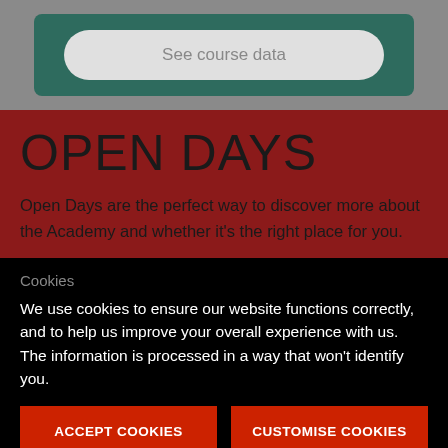[Figure (screenshot): Top grey section with dark green box containing a light grey pill-shaped button labeled 'See course data']
OPEN DAYS
Open Days are the perfect way to discover more about the Academy and whether it's the right place for you.
Cookies
We use cookies to ensure our website functions correctly, and to help us improve your overall experience with us. The information is processed in a way that won't identify you.
ACCEPT COOKIES
CUSTOMISE COOKIES